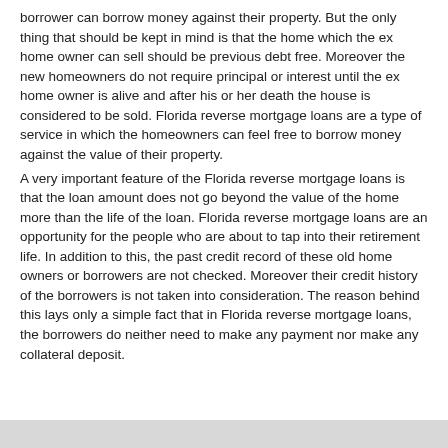borrower can borrow money against their property. But the only thing that should be kept in mind is that the home which the ex home owner can sell should be previous debt free. Moreover the new homeowners do not require principal or interest until the ex home owner is alive and after his or her death the house is considered to be sold. Florida reverse mortgage loans are a type of service in which the homeowners can feel free to borrow money against the value of their property.
A very important feature of the Florida reverse mortgage loans is that the loan amount does not go beyond the value of the home more than the life of the loan. Florida reverse mortgage loans are an opportunity for the people who are about to tap into their retirement life. In addition to this, the past credit record of these old home owners or borrowers are not checked. Moreover their credit history of the borrowers is not taken into consideration. The reason behind this lays only a simple fact that in Florida reverse mortgage loans, the borrowers do neither need to make any payment nor make any collateral deposit.